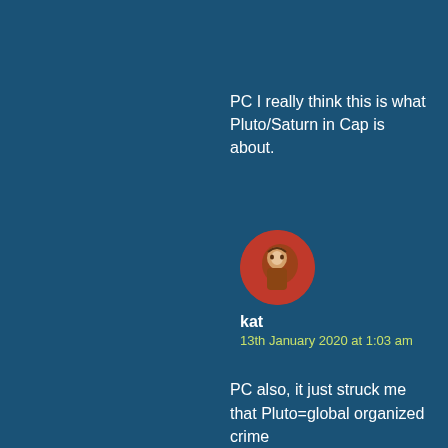PC I really think this is what Pluto/Saturn in Cap is about.
[Figure (photo): Circular avatar image with red background showing a figure/statue]
kat
13th January 2020 at 1:03 am
PC also, it just struck me that Pluto=global organized crime